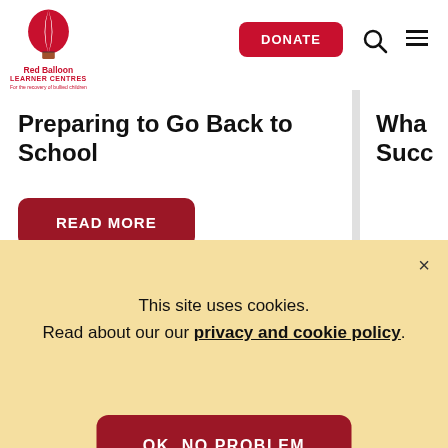[Figure (logo): Red Balloon Learner Centres logo with hot air balloon icon in red and white stripes]
DONATE
Preparing to Go Back to School
READ MORE
Who Succ...
R...
This site uses cookies.
Read about our our privacy and cookie policy.
OK, NO PROBLEM
hristmas cards available now